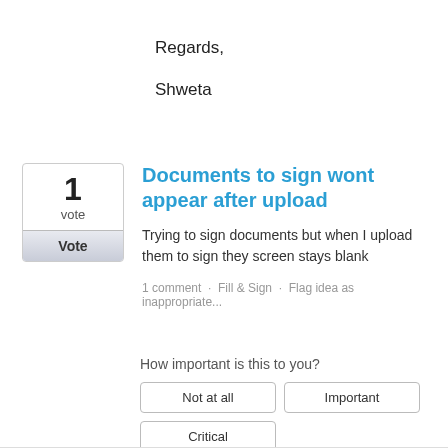Regards,
Shweta
1
vote
Vote
Documents to sign wont appear after upload
Trying to sign documents but when I upload them to sign they screen stays blank
1 comment · Fill & Sign · Flag idea as inappropriate...
How important is this to you?
Not at all
Important
Critical